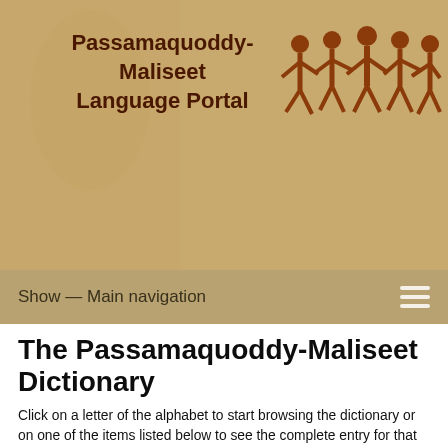Passamaquoddy-Maliseet Language Portal
[Figure (illustration): Silhouette illustration of people dancing in a circle, rendered in brown/copper color]
Show — Main navigation
The Passamaquoddy-Maliseet Dictionary
Click on a letter of the alphabet to start browsing the dictionary or on one of the items listed below to see the complete entry for that item. Entries include the definition of the Passamaquoddy-Maliseet word in English and its part of speech. Many entries also provide information about the item's inflection (endings and prefixes), notes about its cultural significance, and English keywords that you can click on to see lists of related terms. Entries may